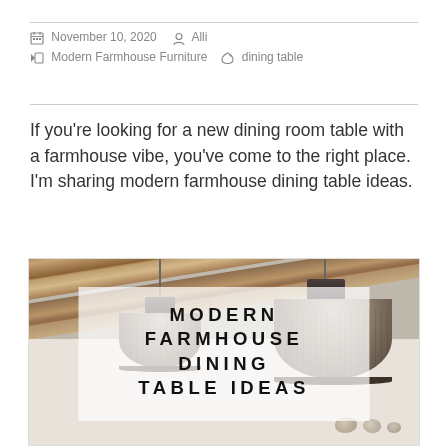November 10, 2020  Alli  Modern Farmhouse Furniture  dining table
If you're looking for a new dining room table with a farmhouse vibe, you've come to the right place. I'm sharing modern farmhouse dining table ideas.
[Figure (photo): Photo of hanging industrial pendant lamps with ribbed glass shades suspended from chains near a ceiling with exposed wooden beams. A semi-transparent white overlay box displays the text 'MODERN FARMHOUSE DINING TABLE IDEAS' in bold uppercase letters. Some decorative stones are visible in the lower right area of the image.]